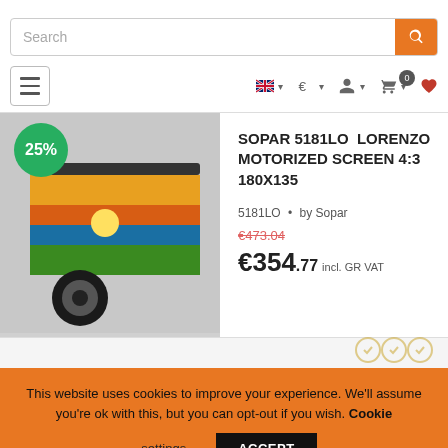[Figure (screenshot): E-commerce website screenshot showing search bar, navigation icons (hamburger menu, UK flag/language selector, euro currency selector, user account, shopping cart with 0 badge, heart/wishlist), a product listing for SOPAR 5181LO LORENZO MOTORIZED SCREEN 4:3 180X135 with 25% discount badge, original price €473.04, sale price €354.77 incl. GR VAT, and a cookie consent banner at the bottom reading 'This website uses cookies to improve your experience. We'll assume you're ok with this, but you can opt-out if you wish. Cookie settings ACCEPT']